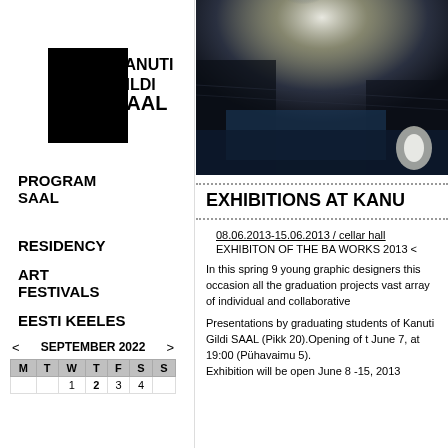[Figure (logo): Kanuti Gildi SAAL logo with black geometric shape and text]
PROGRAM
SAAL
RESIDENCY
ART FESTIVALS
EESTI KEELES
| < SEPTEMBER 2022 > |
| --- |
| M | T | W | T | F | S | S |
|  |  | 1 | 2 | 3 | 4 |  |
[Figure (photo): Dark atmospheric photo of an interior space with dramatic lighting from above, moody blue-grey tones]
EXHIBITIONS AT KANU
08.06.2013-15.06.2013 / cellar hall
EXHIBITON OF THE BA WORKS 2013
In this spring 9 young graphic designers this occasion all the graduation projects vast array of individual and collaborative
Presentations by graduating students of Kanuti Gildi SAAL (Pikk 20).Opening of t June 7, at 19:00 (Pühavaimu 5). Exhibition will be open June 8 -15, 2013